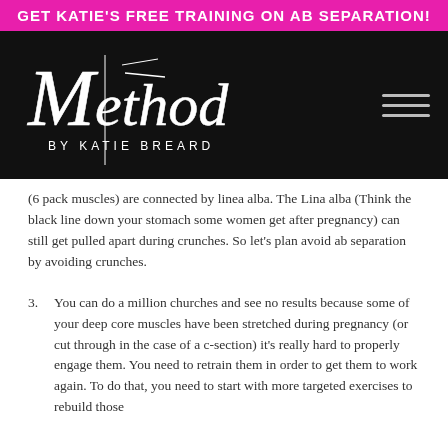GET KATIE'S FREE TRAINING ON AB SEPARATION!
[Figure (logo): Method by Katie Breard logo in white on black background with hamburger menu icon]
(6 pack muscles) are connected by linea alba. The Lina alba (Think the black line down your stomach some women get after pregnancy) can still get pulled apart during crunches. So let's plan avoid ab separation by avoiding crunches.
3. You can do a million churches and see no results because some of your deep core muscles have been stretched during pregnancy (or cut through in the case of a c-section) it's really hard to properly engage them. You need to retrain them in order to get them to work again. To do that, you need to start with more targeted exercises to rebuild those